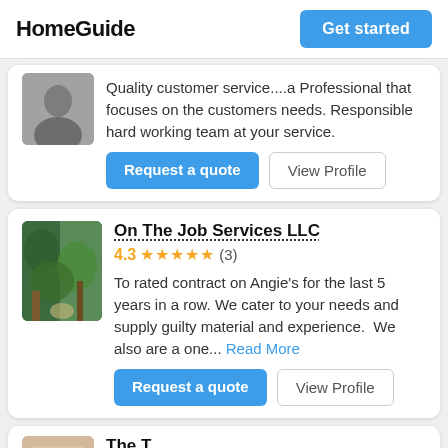HomeGuide
Quality customer service....a Professional that focuses on the customers needs. Responsible hard working team at your service.
On The Job Services LLC
4.3 ★★★★★ (3)
To rated contract on Angie's for the last 5 years in a row. We cater to your needs and supply guilty material and experience.  We also are a one... Read More